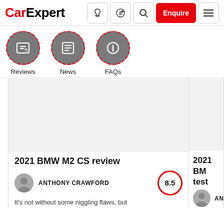CarExpert | Enquire
Reviews
News
FAQs
[Figure (screenshot): Blank image area for 2021 BMW M2 CS review article card]
2021 BMW M2 CS review
ANTHONY CRAWFORD
8.5
It's not without some niggling flaws, but
[Figure (screenshot): Partial right card – 2021 BMW [M2 CS track] test, author ANTHO[NY CRAWFORD]]